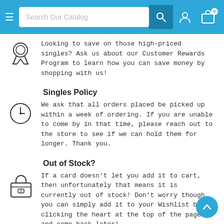Search Our Catalog
Looking to save on those high-priced singles? Ask us about our Customer Rewards Program to learn how you can save money by shopping with us!
Singles Policy
We ask that all orders placed be picked up within a week of ordering. If you are unable to come by in that time, please reach out to the store to see if we can hold them for longer. Thank you.
Out of Stock?
If a card doesn't let you add it to cart, then unfortunately that means it is currently out of stock! Don't worry though, you can simply add it to your Wishlist by clicking the heart at the top of the page and come back later!